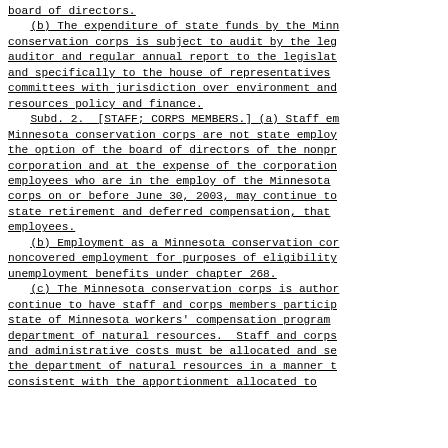board of directors.
    (b) The expenditure of state funds by the Minn conservation corps is subject to audit by the leg auditor and regular annual report to the legislat and specifically to the house of representatives committees with jurisdiction over environment and resources policy and finance.
    Subd. 2. [STAFF; CORPS MEMBERS.] (a) Staff em Minnesota conservation corps are not state employ the option of the board of directors of the nonpr corporation and at the expense of the corporation employees who are in the employ of the Minnesota corps on or before June 30, 2003, may continue to state retirement and deferred compensation, that employees.
    (b) Employment as a Minnesota conservation cor noncovered employment for purposes of eligibility unemployment benefits under chapter 268.
    (c) The Minnesota conservation corps is author continue to have staff and corps members particip state of Minnesota workers' compensation program department of natural resources. Staff and corps and administrative costs must be allocated and se the department of natural resources in a manner t consistent with the apportionment allocated to